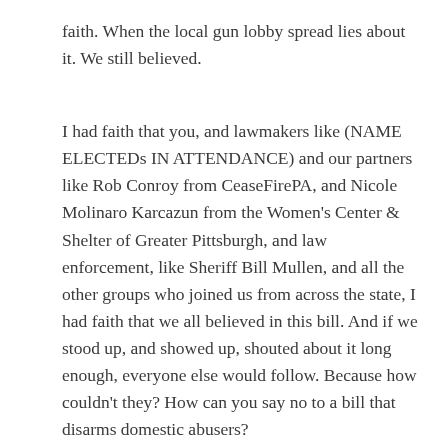faith. When the local gun lobby spread lies about it. We still believed.
I had faith that you, and lawmakers like (NAME ELECTEDs IN ATTENDANCE) and our partners like Rob Conroy from CeaseFirePA, and Nicole Molinaro Karcazun from the Women's Center & Shelter of Greater Pittsburgh, and law enforcement, like Sheriff Bill Mullen, and all the other groups who joined us from across the state, I had faith that we all believed in this bill. And if we stood up, and showed up, shouted about it long enough, everyone else would follow. Because how couldn't they? How can you say no to a bill that disarms domestic abusers?